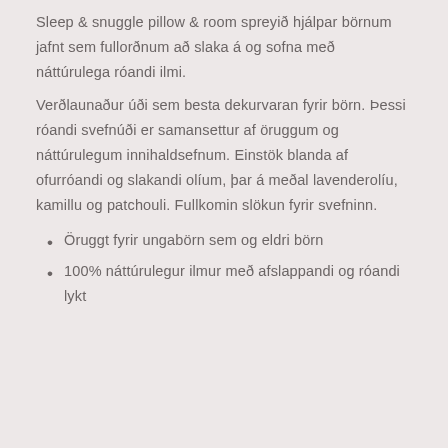Sleep & snuggle pillow & room spreyið hjálpar börnum jafnt sem fullorðnum að slaka á og sofna með náttúrulega róandi ilmi.
Verðlaunaður úði sem besta dekurvaran fyrir börn. Þessi róandi svefnúði er samansettur af öruggum og náttúrulegum innihaldsefnum. Einstök blanda af ofurróandi og slakandi olíum, þar á meðal lavenderolíu, kamillu og patchouli. Fullkomin slökun fyrir svefninn.
Öruggt fyrir ungabörn sem og eldri börn
100% náttúrulegur ilmur með afslappandi og róandi lykt